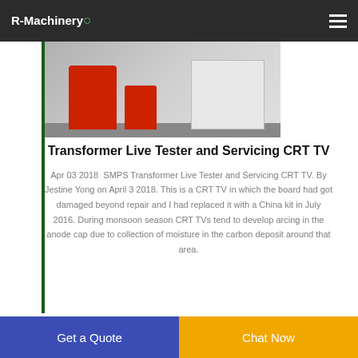R-Machinery
[Figure (photo): Industrial machinery equipment photo showing red machine components and white equipment on a factory floor]
Transformer Live Tester and Servicing CRT TV
Apr 03 2018  SMPS Transformer Live Tester and Servicing CRT TV. By Jestine Yong on April 3 2018. This is a CRT TV in which the board had got damaged beyond repair and I had replaced it with a China kit in July 2016. During monsoon season CRT TVs tend to develop arcing in the anode cap due to collection of moisture in the carbon deposit around that area.
Get a Quote
Chat Now